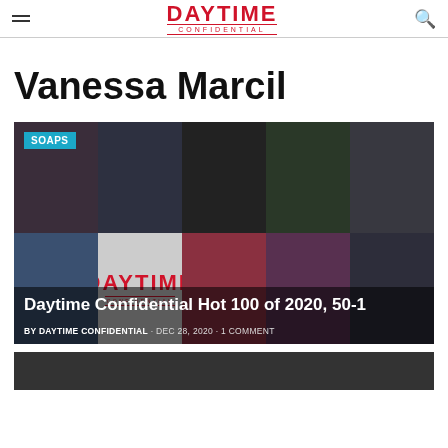DAYTIME CONFIDENTIAL
Vanessa Marcil
[Figure (photo): Article card with photo collage of daytime TV stars, Daytime Confidential logo overlay, SOAPS category badge, and article title 'Daytime Confidential Hot 100 of 2020, 50-1' with byline 'BY DAYTIME CONFIDENTIAL · DEC 28, 2020 · 1 COMMENT']
[Figure (photo): Partial image strip at bottom of page]